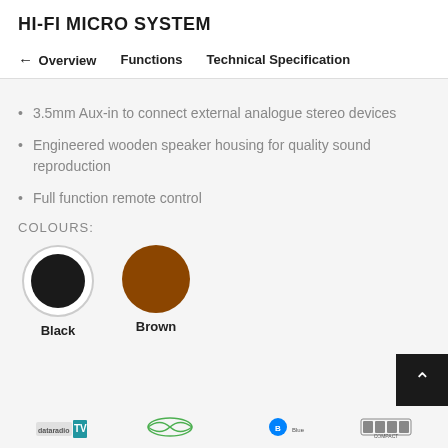HI-FI MICRO SYSTEM
← Overview   Functions   Technical Specification
3.5mm Aux-in to connect external analogue stereo devices
Engineered wooden speaker housing for quality sound reproduction
Full function remote control
COLOURS:
[Figure (illustration): Two colour swatches: a white-bordered circle with a black inner circle labelled 'Black', and a solid brown circle labelled 'Brown']
[Figure (logo): Footer logos: dataradio TV, unidentified green logo, Bluetooth logo, Compact Disc logo]